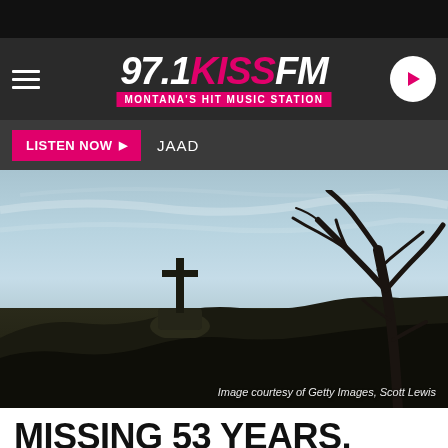[Figure (logo): 97.1 KISS FM logo — Montana's Hit Music Station — radio station header with hamburger menu and play button]
LISTEN NOW ▶   JAAD
[Figure (photo): Outdoor landscape photo showing a stone structure with a cross silhouetted against a pale blue sky, with bare winter trees on the right side. Image courtesy of Getty Images, Scott Lewis.]
Image courtesy of Getty Images, Scott Lewis
MISSING 53 YEARS, EMOTIONAL